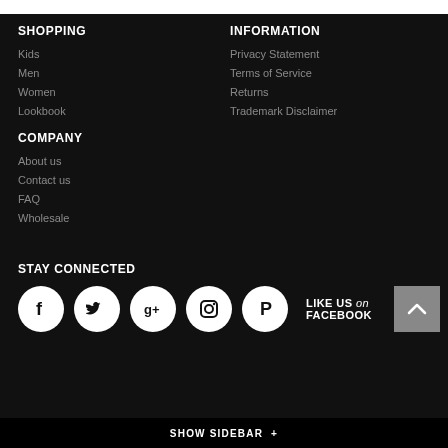SHOPPING
Kids
Men
Women
Lookbook
INFORMATION
Privacy Statement
Terms of Service
Returns
Trademark Disclaimer
COMPANY
About us
Contact us
FAQ
Wholesale
STAY CONNECTED
[Figure (infographic): Row of five circular social media icons (Facebook, Twitter, Google+, Instagram, Pinterest) followed by LIKE US on FACEBOOK text and a back-to-top arrow button]
SHOW SIDEBAR +